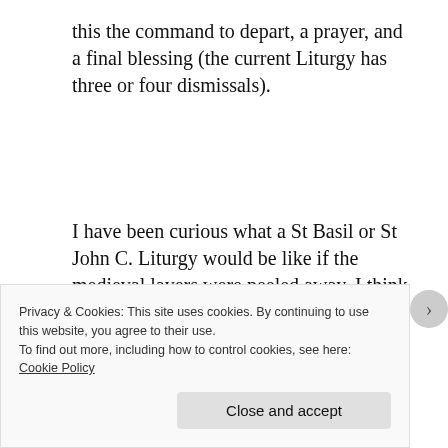this the command to depart, a prayer, and a final blessing (the current Liturgy has three or four dismissals).
I have been curious what a St Basil or St John C. Liturgy would be like if the medieval layers were peeled away. I think we got a feel for the dynamic. There was a greater balance between the Liturgy of
Privacy & Cookies: This site uses cookies. By continuing to use this website, you agree to their use.
To find out more, including how to control cookies, see here: Cookie Policy
Close and accept